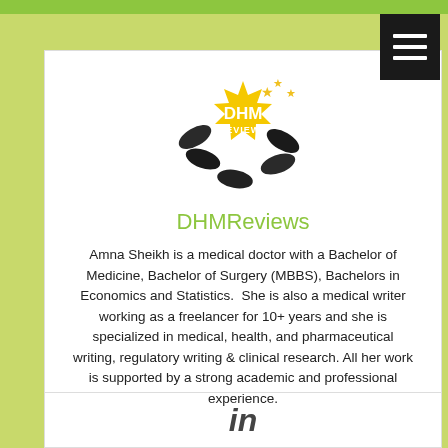[Figure (logo): DHM Reviews logo: yellow starburst badge with DHM REVIEWS text, stars, and supplement pills in background]
DHMReviews
Amna Sheikh is a medical doctor with a Bachelor of Medicine, Bachelor of Surgery (MBBS), Bachelors in Economics and Statistics.  She is also a medical writer working as a freelancer for 10+ years and she is specialized in medical, health, and pharmaceutical writing, regulatory writing & clinical research. All her work is supported by a strong academic and professional experience.
[Figure (logo): LinkedIn icon (stylized 'in' text in dark gray)]